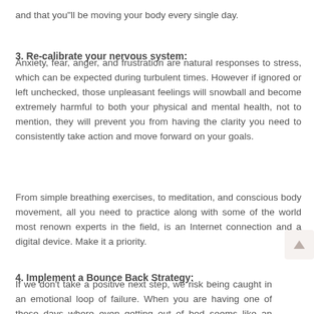and that you"ll be moving your body every single day.
3. Re-calibrate your nervous system:
Anxiety, fear, anger, and frustration are natural responses to stress, which can be expected during turbulent times. However if ignored or left unchecked, those unpleasant feelings will snowball and become extremely harmful to both your physical and mental health, not to mention, they will prevent you from having the clarity you need to consistently take action and move forward on your goals.
From simple breathing exercises, to meditation, and conscious body movement, all you need to practice along with some of the world most renown experts in the field, is an Internet connection and a digital device. Make it a priority.
4. Implement a Bounce Back Strategy:
If we don't take a positive next step, we risk being caught in an emotional loop of failure. When you are having one of those days where even getting out of bed seems like an effort, take a deep breath, forgive yourself, and let it